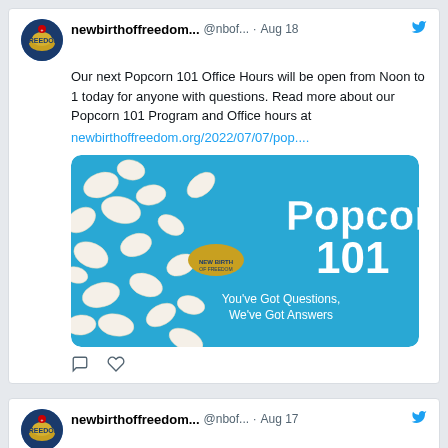newbirthoffreedom... @nbof... · Aug 18
Our next Popcorn 101 Office Hours will be open from Noon to 1 today for anyone with questions. Read more about our Popcorn 101 Program and Office hours at
newbirthoffreedom.org/2022/07/07/pop....
[Figure (photo): Promotional image for 'Popcorn 101' program on a blue background with popcorn, logo, and text 'You've Got Questions, We've Got Answers']
newbirthoffreedom... @nbof... · Aug 17
Our next Popcorn 101 Office Hours will be open from Noon to 1 on Thursday for anyone that